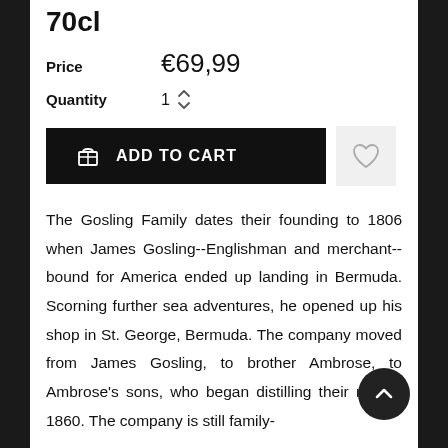70cl
Price   €69,99
Quantity   1
ADD TO CART
The Gosling Family dates their founding to 1806 when James Gosling--Englishman and merchant--bound for America ended up landing in Bermuda. Scorning further sea adventures, he opened up his shop in St. George, Bermuda. The company moved from James Gosling, to brother Ambrose, to Ambrose's sons, who began distilling their rum in 1860. The company is still family-